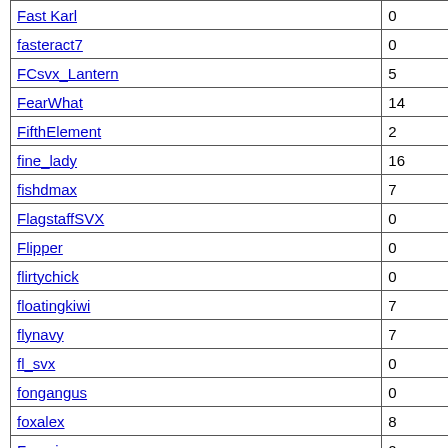| Fast Karl | 0 |
| fasteract7 | 0 |
| FCsvx_Lantern | 5 |
| FearWhat | 14 |
| FifthElement | 2 |
| fine_lady | 16 |
| fishdmax | 7 |
| FlagstaffSVX | 0 |
| Flipper | 0 |
| flirtychick | 0 |
| floatingkiwi | 7 |
| flynavy | 7 |
| fl_svx | 0 |
| fongangus | 0 |
| foxalex | 8 |
| Francis | 0 |
| freak customs | 21 |
| FREESTYLER | 1 |
| Froggy | 2 |